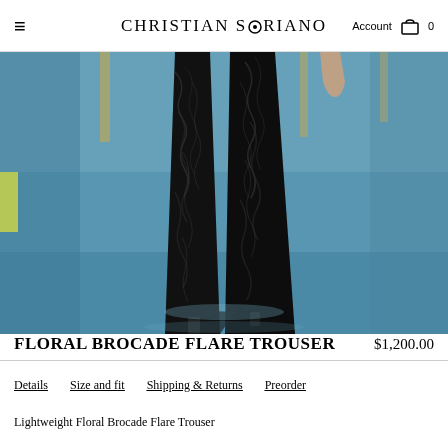CHRISTIAN SIRIANO  Account  0
[Figure (photo): Fashion runway photo showing a model wearing black floral brocade flare trousers walking on a blue runway carpet]
FLORAL BROCADE FLARE TROUSER  $1,200.00
Details
Size and fit
Shipping & Returns
Preorder
Lightweight Floral Brocade Flare Trouser